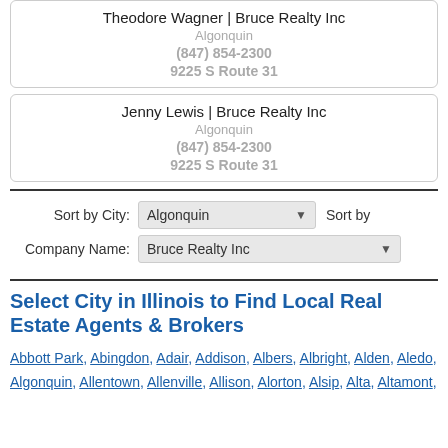Theodore Wagner | Bruce Realty Inc
Algonquin
(847) 854-2300
9225 S Route 31
Jenny Lewis | Bruce Realty Inc
Algonquin
(847) 854-2300
9225 S Route 31
Sort by City: Algonquin ▼    Sort by
Company Name: Bruce Realty Inc ▼
Select City in Illinois to Find Local Real Estate Agents & Brokers
Abbott Park, Abingdon, Adair, Addison, Albers, Albright, Alden, Aledo, Algonquin, Allentown, Allenville, Allison, Alorton, Alsip, Alta, Altamont,